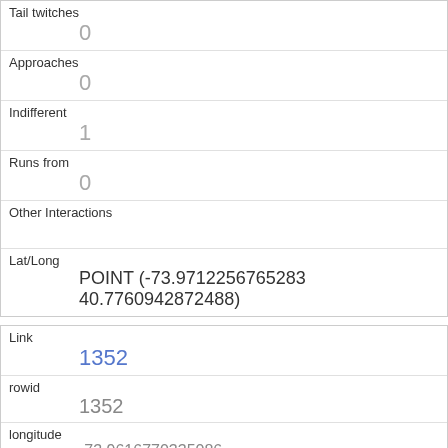| Tail twitches | 0 |
| Approaches | 0 |
| Indifferent | 1 |
| Runs from | 0 |
| Other Interactions |  |
| Lat/Long | POINT (-73.9712256765283 40.7760942872488) |
| Link | 1352 |
| rowid | 1352 |
| longitude | -73.9616770335086 |
| latitude | 40.7921648631009605 |